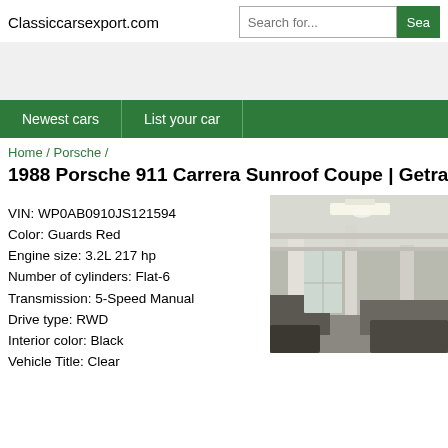Classiccarsexport.com
Search for...
Newest cars | List your car
Home / Porsche /
1988 Porsche 911 Carrera Sunroof Coupe | Getrag
VIN: WP0AB0910JS121594
Color: Guards Red
Engine size: 3.2L 217 hp
Number of cylinders: Flat-6
Transmission: 5-Speed Manual
Drive type: RWD
Interior color: Black
Vehicle Title: Clear
[Figure (photo): Interior/garage photo showing pillars and lighting]